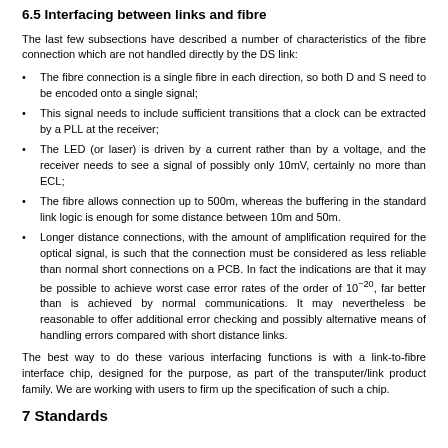6.5 Interfacing between links and fibre
The last few subsections have described a number of characteristics of the fibre connection which are not handled directly by the DS link:
The fibre connection is a single fibre in each direction, so both D and S need to be encoded onto a single signal;
This signal needs to include sufficient transitions that a clock can be extracted by a PLL at the receiver;
The LED (or laser) is driven by a current rather than by a voltage, and the receiver needs to see a signal of possibly only 10mV, certainly no more than ECL;
The fibre allows connection up to 500m, whereas the buffering in the standard link logic is enough for some distance between 10m and 50m.
Longer distance connections, with the amount of amplification required for the optical signal, is such that the connection must be considered as less reliable than normal short connections on a PCB. In fact the indications are that it may be possible to achieve worst case error rates of the order of 10^-20, far better than is achieved by normal communications. It may nevertheless be reasonable to offer additional error checking and possibly alternative means of handling errors compared with short distance links.
The best way to do these various interfacing functions is with a link-to-fibre interface chip, designed for the purpose, as part of the transputer/link product family. We are working with users to firm up the specification of such a chip.
7 Standards